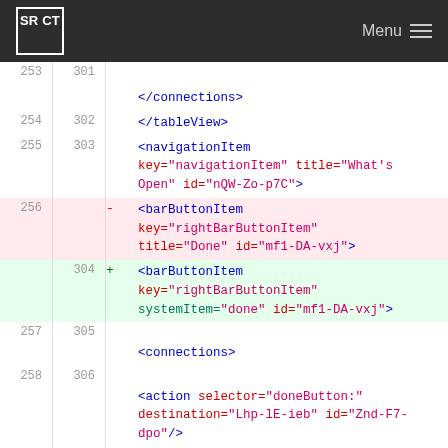SRCT Menu
[Figure (screenshot): Code diff view showing XML lines 253-307 with line numbers, deleted lines highlighted in red and added lines in green, showing changes to barButtonItem XML element.]